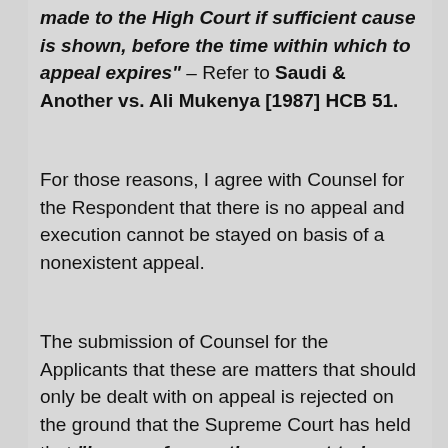made to the High Court if sufficient cause is shown, before the time within which to appeal expires" – Refer to Saudi & Another vs. Ali Mukenya [1987] HCB 51.
For those reasons, I agree with Counsel for the Respondent that there is no appeal and execution cannot be stayed on basis of a nonexistent appeal.
The submission of Counsel for the Applicants that these are matters that should only be dealt with on appeal is rejected on the ground that the Supreme Court has held that "issues of execution are not to be determined by a